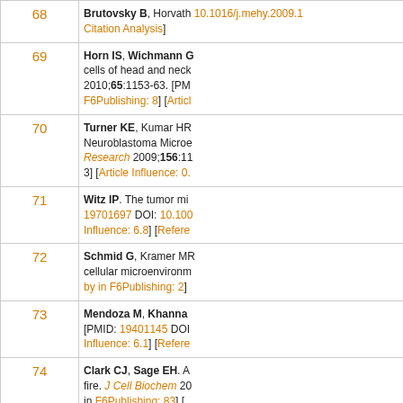| # | Reference |
| --- | --- |
| 68 | Brutovsky B, Horvath... 10.1016/j.mehy.2009.1... Citation Analysis] |
| 69 | Horn IS, Wichmann G... cells of head and neck... 2010;65:1153-63. [PM... F6Publishing: 8] [Articl... |
| 70 | Turner KE, Kumar HR... Neuroblastoma Microe... Research 2009;156:11... 3] [Article Influence: 0.... |
| 71 | Witz IP. The tumor mi... 19701697 DOI: 10.100... Influence: 6.8] [Refere... |
| 72 | Schmid G, Kramer MR... cellular microenvironm... by in F6Publishing: 2] |
| 73 | Mendoza M, Khanna... [PMID: 19401145 DOI... Influence: 6.1] [Refere... |
| 74 | Clark CJ, Sage EH. A... fire. J Cell Biochem 20... in F6Publishing: 83] [... |